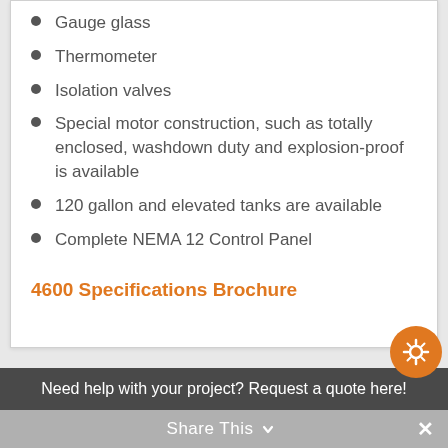Gauge glass
Thermometer
Isolation valves
Special motor construction, such as totally enclosed, washdown duty and explosion-proof is available
120 gallon and elevated tanks are available
Complete NEMA 12 Control Panel
4600 Specifications Brochure
Need help with your project? Request a quote here!
Share This  ×